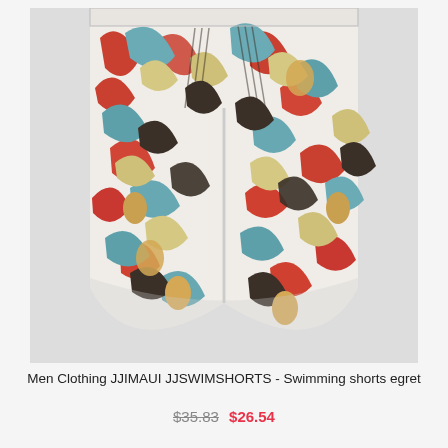[Figure (photo): Men's swimming shorts with tropical floral print featuring red, teal/blue, cream, and dark brown colors showing large leaves, pineapples, and botanical patterns. The shorts are shown from the back/front view without a model, displaying the waistband area at top.]
Men Clothing JJIMAUI JJSWIMSHORTS - Swimming shorts egret
$35.83  $26.54